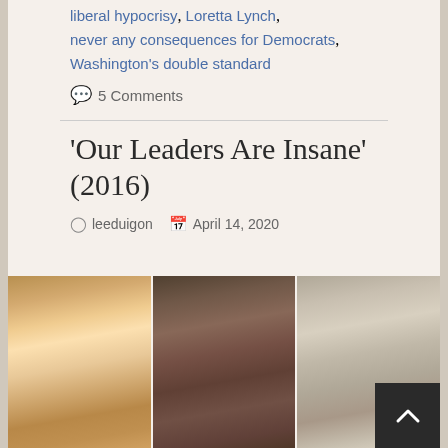liberal hypocrisy, Loretta Lynch, never any consequences for Democrats, Washington's double standard
💬 5 Comments
'Our Leaders Are Insane' (2016)
leeduigon  April 14, 2020
[Figure (photo): Three side-by-side portrait photos: a smiling blonde woman (Hillary Clinton), a close-up of a Black man looking up (Barack Obama), and a grey-haired man (John Kerry) partially visible on the right. A dark scroll-to-top button with a white chevron is overlaid on the bottom right of the third photo.]